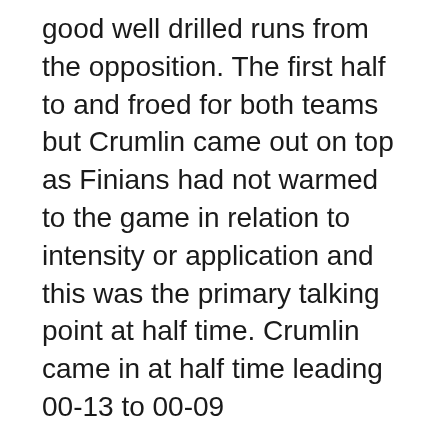good well drilled runs from the opposition. The first half to and froed for both teams but Crumlin came out on top as Finians had not warmed to the game in relation to intensity or application and this was the primary talking point at half time. Crumlin came in at half time leading 00-13 to 00-09
There were a couple of positional switches and some of the lads on the bench were introduced at half time and during the second half. The turnout as we have commented on before was great with 25 players between players togged out and injured guys at the game, this was brilliant to see and a credit to this bunch of guys. Over the space of a year it takes a full panel and everyone is important